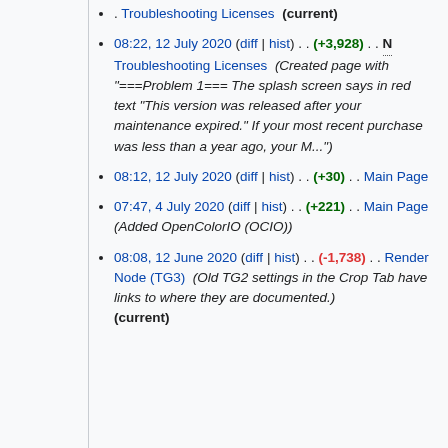. Troubleshooting Licenses (current)
08:22, 12 July 2020 (diff | hist) . . (+3,928) . . N Troubleshooting Licenses (Created page with "===Problem 1=== The splash screen says in red text "This version was released after your maintenance expired." If your most recent purchase was less than a year ago, your M...")
08:12, 12 July 2020 (diff | hist) . . (+30) . . Main Page
07:47, 4 July 2020 (diff | hist) . . (+221) . . Main Page (Added OpenColorIO (OCIO))
08:08, 12 June 2020 (diff | hist) . . (-1,738) . . Render Node (TG3) (Old TG2 settings in the Crop Tab have links to where they are documented.) (current)